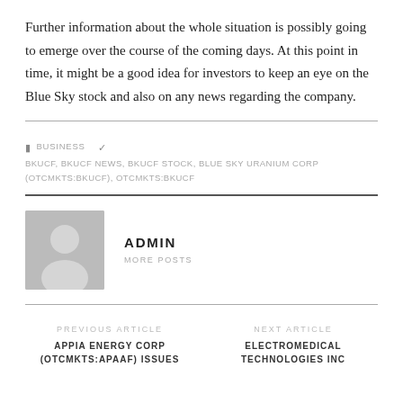Further information about the whole situation is possibly going to emerge over the course of the coming days. At this point in time, it might be a good idea for investors to keep an eye on the Blue Sky stock and also on any news regarding the company.
BUSINESS   BKUCF, BKUCF NEWS, BKUCF STOCK, BLUE SKY URANIUM CORP (OTCMKTS:BKUCF), OTCMKTS:BKUCF
ADMIN
MORE POSTS
PREVIOUS ARTICLE
APPIA ENERGY CORP (OTCMKTS:APAAF) ISSUES UPDATE ABOUT
NEXT ARTICLE
ELECTROMEDICAL TECHNOLOGIES INC (OTCMKTS:EMED:SOON)